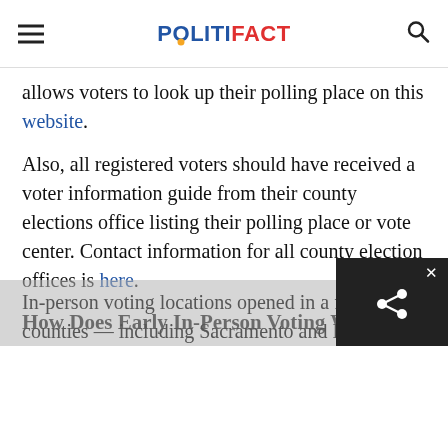POLITIFACT
allows voters to look up their polling place on this website.
Also, all registered voters should have received a voter information guide from their county elections office listing their polling place or vote center. Contact information for all county election offices is here.
How Does Early In-Person Voting Work?
In-person voting locations opened in a few counties — including Sacramento and Los